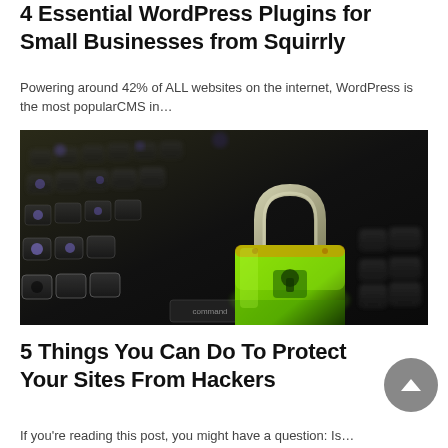4 Essential WordPress Plugins for Small Businesses from Squirrly
Powering around 42% of ALL websites on the internet, WordPress is the most popularCMS in…
[Figure (photo): A bright green padlock sitting on a dark laptop keyboard, photographed close-up with blurred background.]
5 Things You Can Do To Protect Your Sites From Hackers
If you're reading this post, you might have a question: Is…